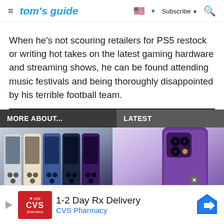tom's guide | Subscribe
When he's not scouring retailers for PS5 restock or writing hot takes on the latest gaming hardware and streaming shows, he can be found attending music festivals and being thoroughly disappointed by his terrible football team.
MORE ABOUT...
LATEST
[Figure (photo): Multiple iPhone 14 Pro models in different colors shown from the back]
[Figure (photo): Close-up of purple iPhone 14 Pro camera module]
1-2 Day Rx Delivery
CVS Pharmacy